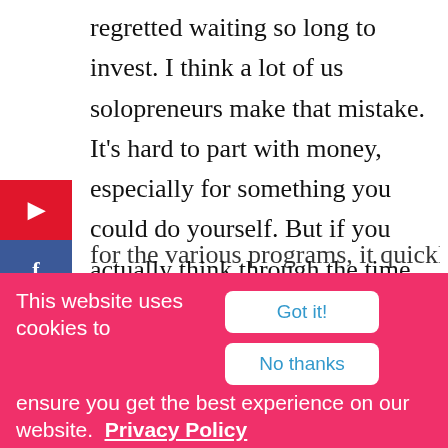regretted waiting so long to invest. I think a lot of us solopreneurs make that mistake. It's hard to part with money, especially for something you could do yourself. But if you actually think through the time you spend DIYing things vs. the low monthly fees for the various programs, it quickly
[Figure (other): Social media share buttons sidebar: Pinterest (red), Facebook (dark blue), LinkedIn (blue), Twitter (light blue), Email (green)]
This website uses cookies to ensure you get the best experience on our website.  Privacy Policy